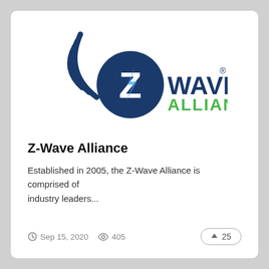[Figure (logo): Z-Wave Alliance logo: dark blue circular emblem with Z letter and lightning bolt, wifi/radio arc waves on the left, 'Z-WAVE' in dark blue bold text and 'ALLIANCE' in green bold text below.]
Z-Wave Alliance
Established in 2005, the Z-Wave Alliance is comprised of industry leaders...
Sep 15, 2020   405   25